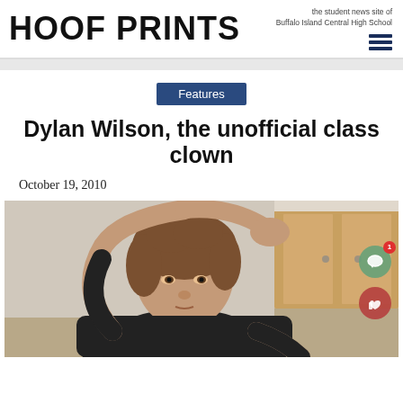HOOF PRINTS — the student news site of Buffalo Island Central High School
Features
Dylan Wilson, the unofficial class clown
October 19, 2010
[Figure (photo): A teenage boy with medium-length brown hair wearing a black t-shirt, arms raised above his head in a stretching pose, with school cabinets visible in the background.]